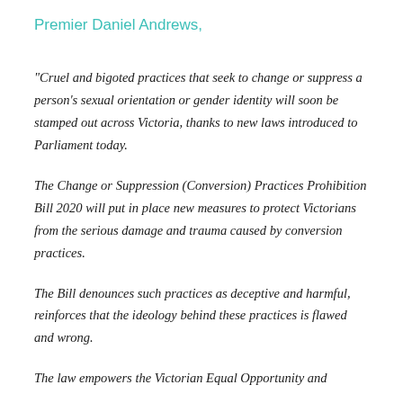Premier Daniel Andrews,
“Cruel and bigoted practices that seek to change or suppress a person’s sexual orientation or gender identity will soon be stamped out across Victoria, thanks to new laws introduced to Parliament today.
The Change or Suppression (Conversion) Practices Prohibition Bill 2020 will put in place new measures to protect Victorians from the serious damage and trauma caused by conversion practices.
The Bill denounces such practices as deceptive and harmful, reinforces that the ideology behind these practices is flawed and wrong.
The law empowers the Victorian Equal Opportunity and